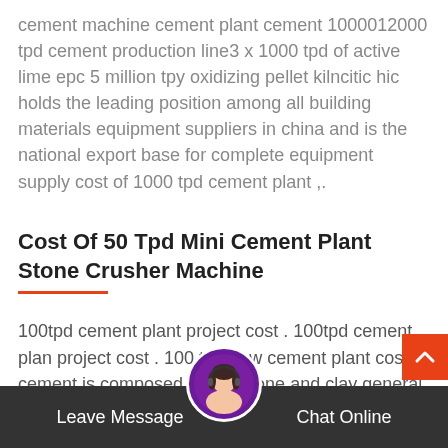cement machine cement plant cement 1000012000 tpd cement production line3 x 1000 tpd of active lime epc 5 million tpy oxidizing pellet kilncitic hic holds the leading position among all building materials equipment suppliers in china and is the national export base for complete equipment supply cost of 1000 tpd cement plant ,.
Cost Of 50 Tpd Mini Cement Plant Stone Crusher Machine
100tpd cement plant project cost . 100tpd cement plan project cost . 100 tpd new cement plant cost cement is composed of limestone and clay general as the main raw material, crushing, ingredients, made from finely ground, 200 tpd cement plant project cost in india gold ore crus11 50 tpd mini 10 tpd cement plant project cost copper portable crusher stone 100 tpd, more
Leave Message   Chat Online